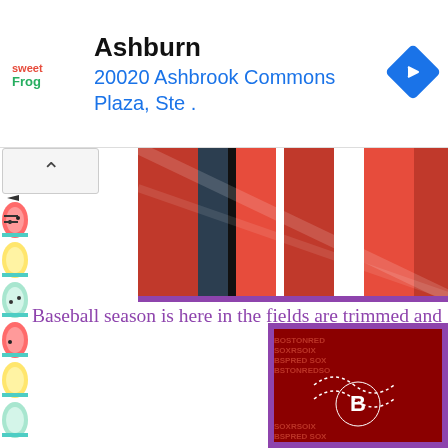[Figure (screenshot): Sweet Frog frozen yogurt advertisement banner showing location: Ashburn, 20020 Ashbrook Commons Plaza, Ste. with navigation arrow icon]
[Figure (photo): Colorful striped blanket or textile with red, black, and white stripes, partially visible at top, with purple border at bottom]
[Figure (photo): Boston Red Sox branded blanket/throw with team name and logo visible, dark red background, shown in purple-bordered frame]
Baseball season is here in the fields are trimmed and ret diamond shape, gloves are being broken into, and crack shipped by the truckload. The Northwest Company has for every sports season from football, hockey, baseball, Disney, Star Wars and so much more. I am from New E like Boston Red Sox and for the cool nights at the stadi cuddle up with the